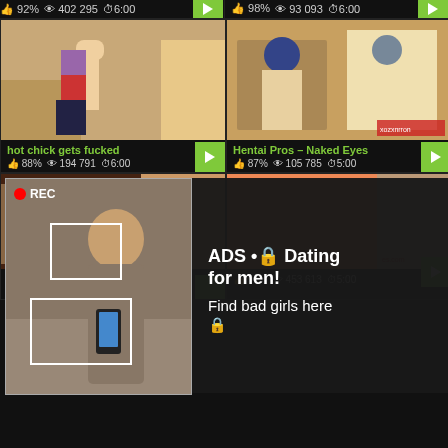[Figure (screenshot): Top strip showing two video card meta rows: left card 92% likes, 402 295 views, 6:00 duration; right card 98% likes, 93 093 views, 6:00 duration]
[Figure (screenshot): Anime hentai thumbnail - hot chick gets fucked, 88% likes, 194 791 views, 6:00 duration]
[Figure (screenshot): Anime thumbnail - Hentai Pros - Naked Eyes, 87% likes, 105 785 views, 5:00 duration]
[Figure (screenshot): Bottom left video card - Hentai, 92% likes, 542 446 views, 4:00 duration - with ad overlay showing REC photo and text: ADS • Dating for men! Find bad girls here]
[Figure (screenshot): Bottom right video card, 93% likes, 453 613 views, 5:00 duration]